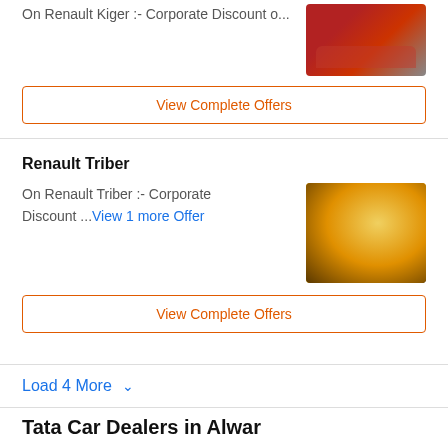On Renault Kiger :- Corporate Discount o...
[Figure (photo): Red Renault Kiger SUV car image]
View Complete Offers
Renault Triber
On Renault Triber :- Corporate Discount ...View 1 more Offer
[Figure (photo): Yellow Renault Triber SUV car image against golden background]
View Complete Offers
Load 4 More ▾
Tata Car Dealers in Alwar